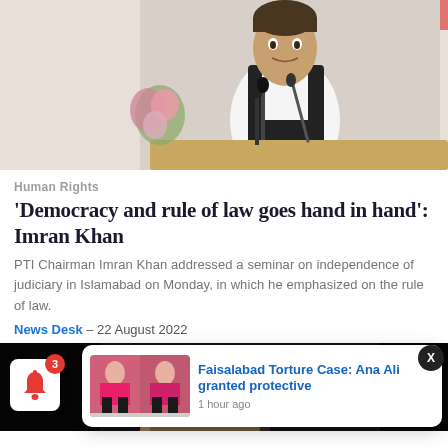[Figure (photo): Man in black vest and white shirt speaking at a podium with multiple microphones and flowers in the background]
Human Rights
'Democracy and rule of law goes hand in hand': Imran Khan
PTI Chairman Imran Khan addressed a seminar on independence of judiciary in Islamabad on Monday, in which he emphasized on the rule of law.
News Desk – 22 August 2022
[Figure (photo): Second article photo partially visible at bottom, with a notification popup overlay showing 'Faisalabad Torture Case: Ana Ali granted protective' and '1 hour ago']